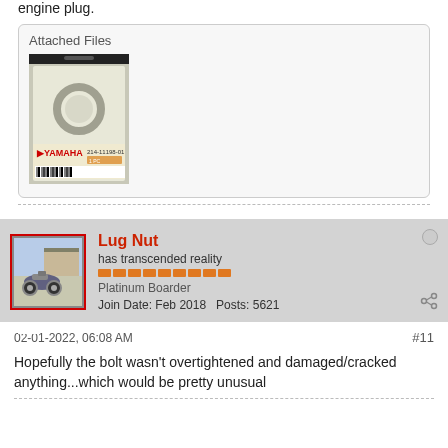engine plug.
Attached Files
[Figure (photo): Yamaha parts bag with a metal ring/gasket, barcode label reading YAMAHA 214-11198-01, 1 PC]
Lug Nut
has transcended reality
Platinum Boarder
Join Date: Feb 2018    Posts: 5621
02-01-2022, 06:08 AM
#11
Hopefully the bolt wasn't overtightened and damaged/cracked anything...which would be pretty unusual